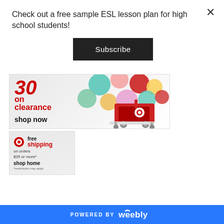Check out a free sample ESL lesson plan for high school students!
[Figure (other): Black Subscribe button]
[Figure (other): Target advertisement banner showing clearance sale with shopping cart and colorful balloons]
[Figure (other): Target advertisement showing free shipping on orders $35 or more, shop home, restrictions may apply]
[Figure (other): Powered by Weebly footer banner in blue]